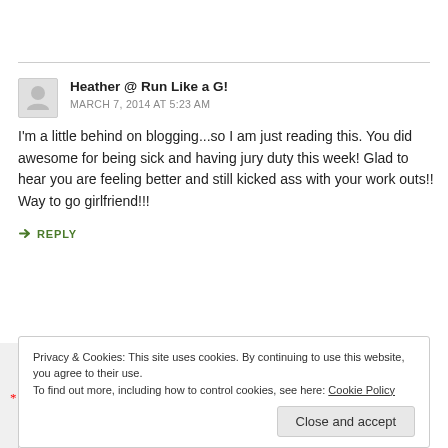Heather @ Run Like a G!
MARCH 7, 2014 AT 5:23 AM
I'm a little behind on blogging...so I am just reading this. You did awesome for being sick and having jury duty this week! Glad to hear you are feeling better and still kicked ass with your work outs!! Way to go girlfriend!!!
↳ REPLY
Privacy & Cookies: This site uses cookies. By continuing to use this website, you agree to their use. To find out more, including how to control cookies, see here: Cookie Policy
Close and accept